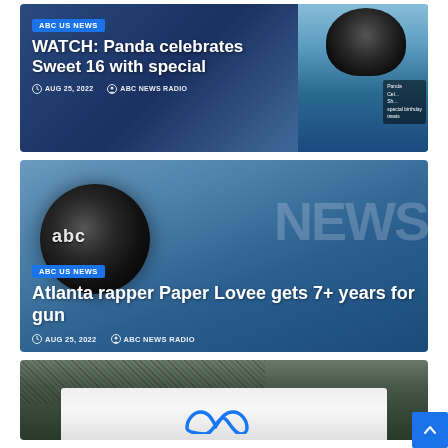[Figure (screenshot): News card with panda image - ABC US NEWS badge, dark blue gradient background with panda photo]
WATCH: Panda celebrates Sweet 16 with special
AUG 25, 2022   ABC NEWS RADIO
[Figure (screenshot): News card with ABC News logo placeholder - blue gradient background with ABC News globe logo and NEWS watermark text]
Atlanta rapper Paper Lovee gets 7+ years for gun
AUG 25, 2022   ABC NEWS RADIO
[Figure (screenshot): Partial news card showing Meta/Facebook sign in outdoor setting]